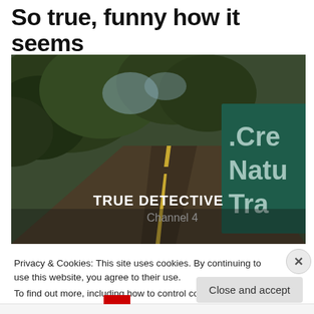So true, funny how it seems
[Figure (screenshot): Video thumbnail showing a road through trees with a green nature trail sign partially visible on the right. In the lower right of the video frame, white bold text reads 'TRUE DETECTIVE' and below it 'Channel 4'.]
Privacy & Cookies: This site uses cookies. By continuing to use this website, you agree to their use.
To find out more, including how to control cookies, see here: Cookie Policy